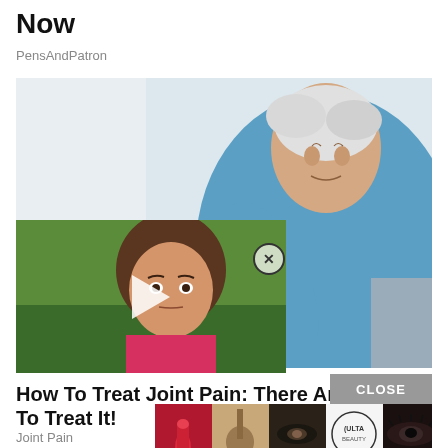Now
PensAndPatron
[Figure (photo): Elderly woman in blue long-sleeve shirt sitting on a couch, leaning forward to hold her foot/toes, with a red inflamed area highlighted on the joint. Light background.]
[Figure (photo): Video thumbnail overlay showing a young girl with brown hair and a pink top, outdoors. White play button triangle in center.]
How To Treat Joint Pain: There Are Ways To Treat It!
Joint Pain
[Figure (photo): Advertisement strip showing beauty/cosmetics imagery (lipstick, makeup brush, eye makeup, ULTA Beauty logo, eye makeup) with SHOP NOW button and CLOSE button.]